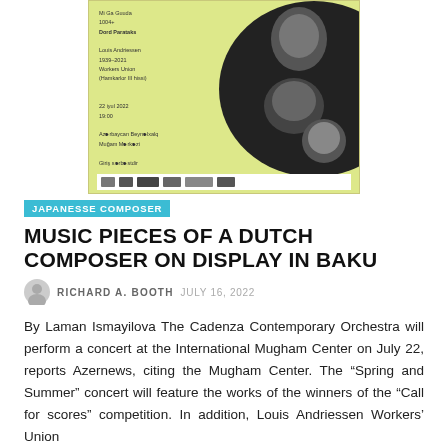[Figure (photo): Concert poster for Cadenza Contemporary Orchestra event at International Mugham Center, featuring a yellow-green background with text in Azerbaijani on the left and black-and-white photos of musicians on the right. Date: 22 iyul 2022, 19:00. Sponsor logos at the bottom.]
JAPANESSE COMPOSER
MUSIC PIECES OF A DUTCH COMPOSER ON DISPLAY IN BAKU
RICHARD A. BOOTH  JULY 16, 2022
By Laman Ismayilova The Cadenza Contemporary Orchestra will perform a concert at the International Mugham Center on July 22, reports Azernews, citing the Mugham Center. The “Spring and Summer” concert will feature the works of the winners of the “Call for scores” competition. In addition, Louis Andriessen Workers’ Union